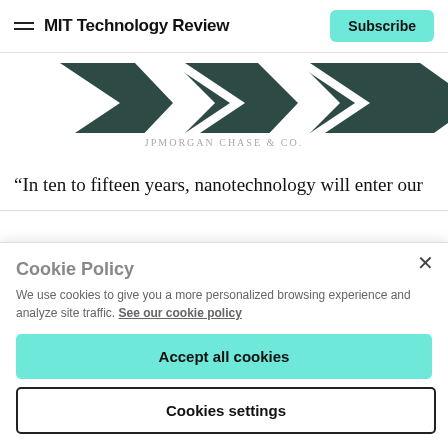MIT Technology Review — Subscribe
[Figure (logo): JPMorgan Chase & Co. logo — dark teal geometric chevron/diamond shapes on white background]
JPMORGAN CHASE & CO.
“In ten to fifteen years, nanotechnology will enter our
Cookie Policy
We use cookies to give you a more personalized browsing experience and analyze site traffic. See our cookie policy
Accept all cookies
Cookies settings